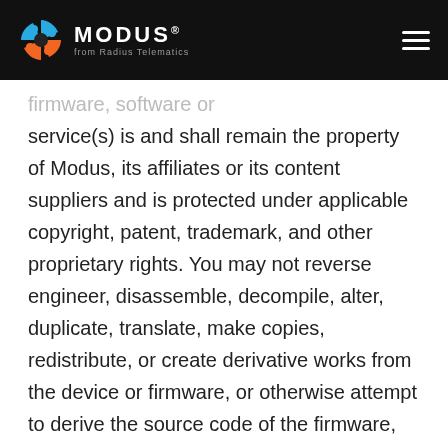MODUS® from Radius Telematics
firmware, software or service(s) is and shall remain the property of Modus, its affiliates or its content suppliers and is protected under applicable copyright, patent, trademark, and other proprietary rights. You may not reverse engineer, disassemble, decompile, alter, duplicate, translate, make copies, redistribute, or create derivative works from the device or firmware, or otherwise attempt to derive the source code of the firmware, except to the extent allowed under